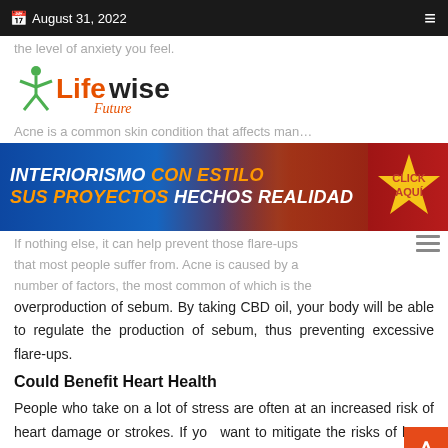August 31, 2022
the level of anxiety you feel.
[Figure (logo): Lifewise Future logo with green figure and orange/dark text]
Acne is a common skin condition that affects man…
[Figure (photo): Ad banner: INTERIORISMO CON ESTILO / SUS PROYECTOS HECHOS REALIDAD - interior design advertisement with CLICK AQUI badge]
If nothing else, it can help prevent those flare-ups that most people suffer from. Acne is caused by a number of factors, the most common of which is the overproduction of sebum. By taking CBD oil, your body will be able to regulate the production of sebum, thus preventing excessive flare-ups.
Could Benefit Heart Health
People who take on a lot of stress are often at an increased risk of heart damage or strokes. If you want to mitigate the risks of heart diseases, you